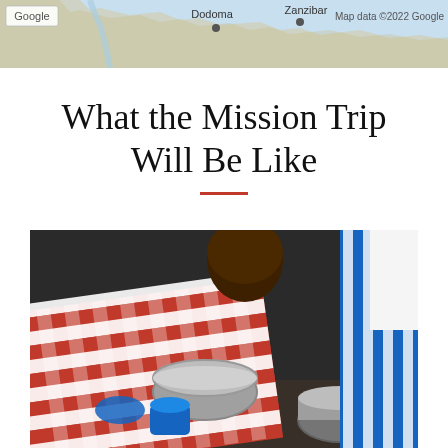[Figure (map): Google Maps screenshot showing Tanzania region with Dodoma and Zanzibar labeled, with map data copyright 2022 Google]
What the Mission Trip Will Be Like
[Figure (photo): A person in a red and white checkered shirt bent over mixing bowls with blue gloves, with another person in a blue striped shirt visible in the background]